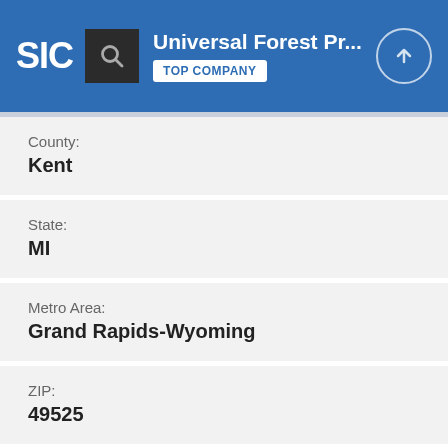SIC | Universal Forest Pr... | TOP COMPANY
County:
Kent
State:
MI
Metro Area:
Grand Rapids-Wyoming
ZIP:
49525
Area Code: